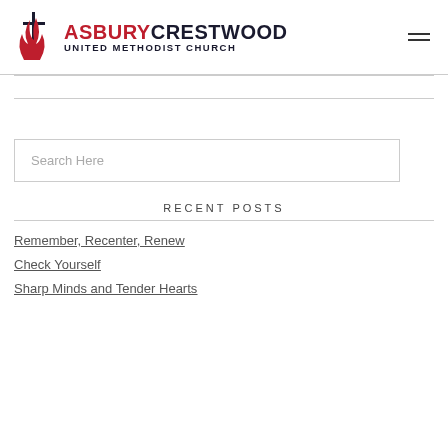ASBURY CRESTWOOD UNITED METHODIST CHURCH
Search Here
RECENT POSTS
Remember, Recenter, Renew
Check Yourself
Sharp Minds and Tender Hearts